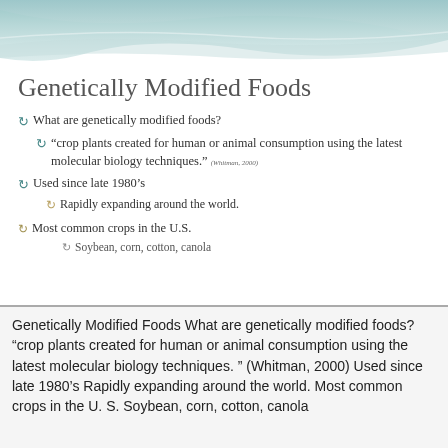[Figure (illustration): Decorative wave/ribbon header graphic in teal and light blue tones at top of slide]
Genetically Modified Foods
What are genetically modified foods?
“crop plants created for human or animal consumption using the latest molecular biology techniques.” (Whitman, 2000)
Used since late 1980’s
Rapidly expanding around the world.
Most common crops in the U.S.
Soybean, corn, cotton, canola
Genetically Modified Foods What are genetically modified foods? “crop plants created for human or animal consumption using the latest molecular biology techniques. ” (Whitman, 2000) Used since late 1980’s Rapidly expanding around the world. Most common crops in the U. S. Soybean, corn, cotton, canola